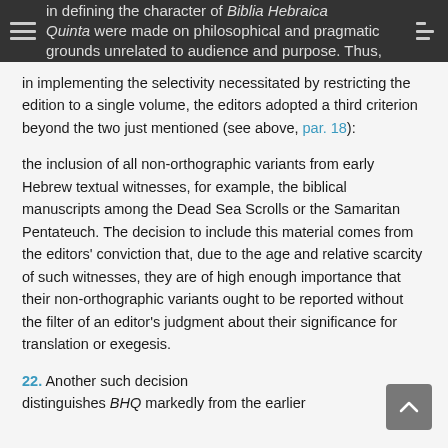in defining the character of Biblia Hebraica Quinta were made on philosophical and pragmatic grounds unrelated to audience and purpose. Thus,
in implementing the selectivity necessitated by restricting the edition to a single volume, the editors adopted a third criterion beyond the two just mentioned (see above, par. 18):
the inclusion of all non-orthographic variants from early Hebrew textual witnesses, for example, the biblical manuscripts among the Dead Sea Scrolls or the Samaritan Pentateuch. The decision to include this material comes from the editors' conviction that, due to the age and relative scarcity of such witnesses, they are of high enough importance that their non-orthographic variants ought to be reported without the filter of an editor's judgment about their significance for translation or exegesis.
22. Another such decision distinguishes BHQ markedly from the earlier